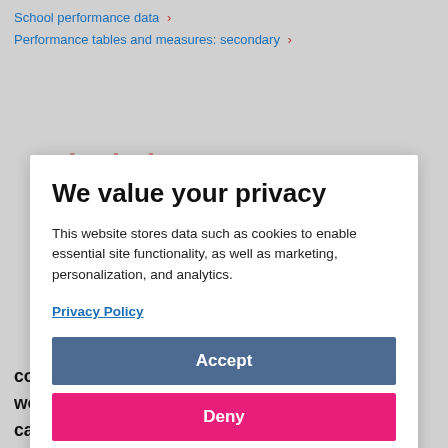School performance data ›
Performance tables and measures: secondary ›
Calculating progress 8
We value your privacy
This website stores data such as cookies to enable essential site functionality, as well as marketing, personalization, and analytics.
Privacy Policy
Accept
Deny
confidence intervals, and use the DfE's tool to work out your school's score. See how the calculations differ for pupils with missing or